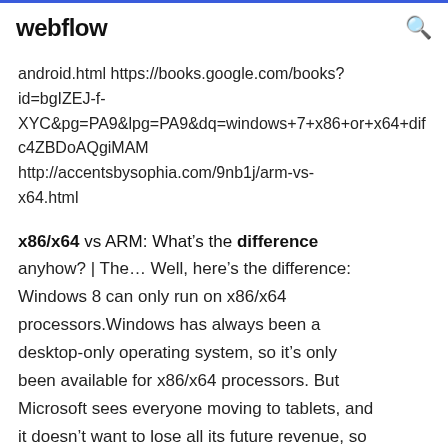webflow
android.html https://books.google.com/books?id=bgIZEJ-f-XYC&pg=PA9&lpg=PA9&dq=windows+7+x86+or+x64+dif c4ZBDoAQgiMAM http://accentsbysophia.com/9nb1j/arm-vs-x64.html
x86/x64 vs ARM: What’s the difference anyhow? | The… Well, here’s the difference: Windows 8 can only run on x86/x64 processors.Windows has always been a desktop-only operating system, so it’s only been available for x86/x64 processors. But Microsoft sees everyone moving to tablets, and it doesn’t want to lose all its future revenue, so